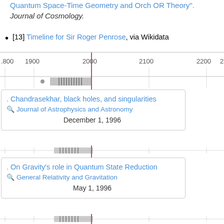Quantum Space-Time Geometry and Orch OR Theory". Journal of Cosmology.
[13] Timeline for Sir Roger Penrose, via Wikidata
[Figure (other): Wikidata timeline showing events from 1800 to 2300, with a red vertical line at approximately 2000, and gray bar cluster around 1950-2000. Multiple popup cards visible showing publication entries.]
Chandrasekhar, black holes, and singularities
Journal of Astrophysics and Astronomy
December 1, 1996
On Gravity's role in Quantum State Reduction
General Relativity and Gravitation
May 1, 1996
The Nature of Space and Time
January 1, 1996